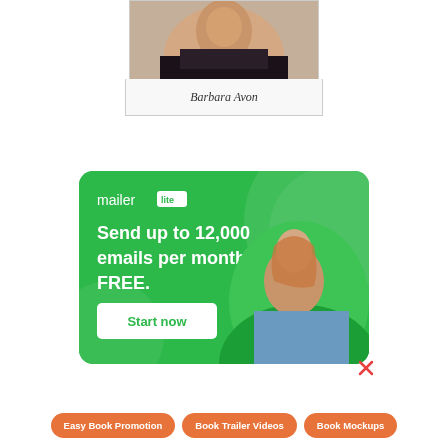[Figure (photo): Profile photo of Barbara Avon, a woman with blonde hair wearing a dark top, cropped at shoulders]
Barbara Avon
[Figure (infographic): MailerLite advertisement banner with green background. Text reads: mailer lite. Send up to 12,000 emails per month. FREE. Start now button. Photo of a woman with headphones sitting at a laptop.]
[Figure (other): Close button (X) for the ad banner]
Easy Book Promotion
Book Trailer Videos
Book Mockups